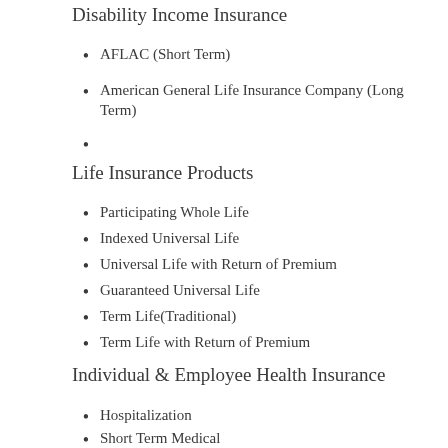Disability Income Insurance
AFLAC (Short Term)
American General Life Insurance Company (Long Term)
Life Insurance Products
Participating Whole Life
Indexed Universal Life
Universal Life with Return of Premium
Guaranteed Universal Life
Term Life(Traditional)
Term Life with Return of Premium
Individual & Employee Health Insurance
Hospitalization
Short Term Medical
Medicare Supplements
Medicare Advantage
Dental Insurance